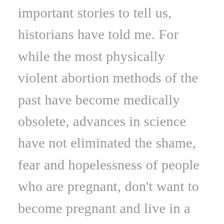important stories to tell us, historians have told me. For while the most physically violent abortion methods of the past have become medically obsolete, advances in science have not eliminated the shame, fear and hopelessness of people who are pregnant, don't want to become pregnant and live in a society where there is no easy, legal access gives for abortion. Coat hangers don't just tell us about the dangers of bad medicine poorly practiced, these historians said. Instead, the hooks also speak volumes about the desperation that can lead people to these dangerous practices in the first place.